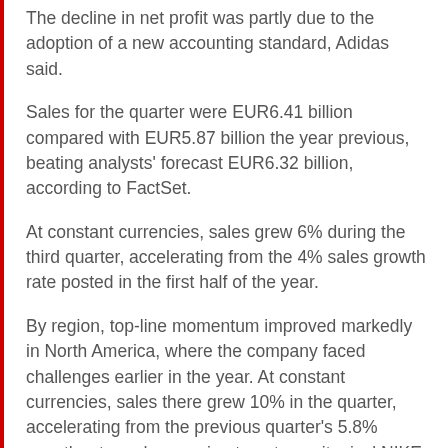The decline in net profit was partly due to the adoption of a new accounting standard, Adidas said.
Sales for the quarter were EUR6.41 billion compared with EUR5.87 billion the year previous, beating analysts' forecast EUR6.32 billion, according to FactSet.
At constant currencies, sales grew 6% during the third quarter, accelerating from the 4% sales growth rate posted in the first half of the year.
By region, top-line momentum improved markedly in North America, where the company faced challenges earlier in the year. At constant currencies, sales there grew 10% in the quarter, accelerating from the previous quarter's 5.8% growth rate and appearing to outpace its rival NIKE Inc. (NKE), which reported 4% organic sales growth in the region for the quarter ended Aug. 31.